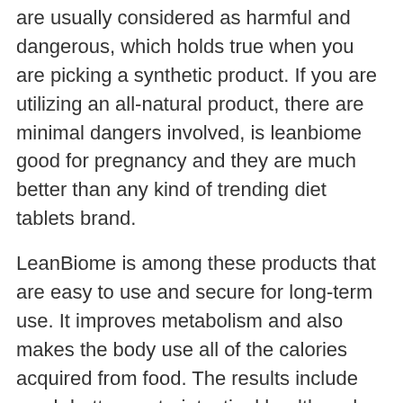are usually considered as harmful and dangerous, which holds true when you are picking a synthetic product. If you are utilizing an all-natural product, there are minimal dangers involved, is leanbiome good for pregnancy and they are much better than any kind of trending diet tablets brand.
LeanBiome is among these products that are easy to use and secure for long-term use. It improves metabolism and also makes the body use all of the calories acquired from food. The results include much better gastrointestinal health and wellness and immunity, which displays in the type of enhanced lifestyle.
ON-LINE DISCOUNT: Click Here to Purchase LeanBiome at the most affordable Cost Today